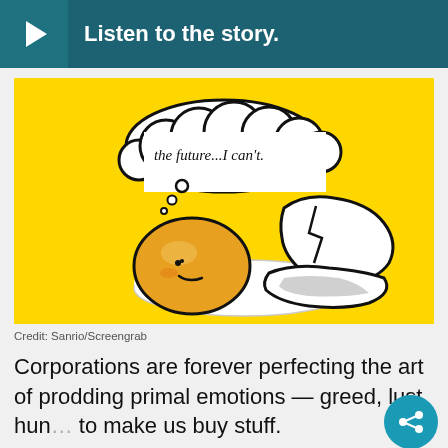Listen to the story.
[Figure (illustration): Cartoon illustration of Gudetama (a lazy egg yolk character) lying next to a cracked eggshell on a yellow background, with a thought bubble saying 'the future...I can't.']
Credit: Sanrio/Screengrab
Corporations are forever perfecting the art of prodding primal emotions — greed, lust, hun… to make us buy stuff.